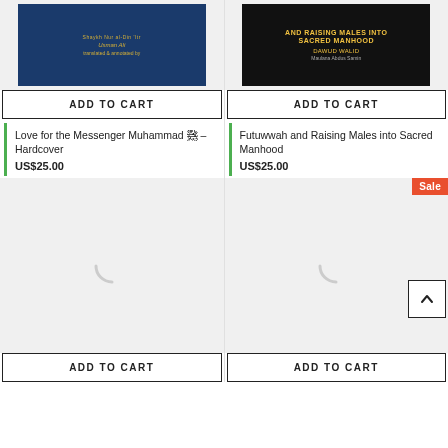[Figure (photo): Book cover for 'Love for the Messenger Muhammad - Hardcover' with dark blue background and gold Islamic pattern]
ADD TO CART
Love for the Messenger Muhammad ﷺ - Hardcover
US$25.00
[Figure (photo): Book cover for 'Futuwwah and Raising Males into Sacred Manhood' with black background and gold text]
ADD TO CART
Futuwwah and Raising Males into Sacred Manhood
US$25.00
[Figure (photo): Loading placeholder for third book product]
ADD TO CART
[Figure (photo): Loading placeholder for fourth book product with Sale badge]
ADD TO CART